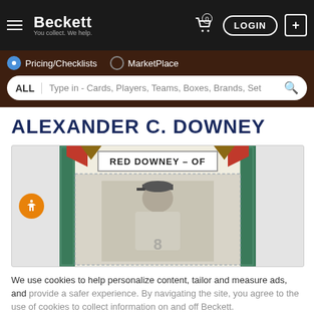Beckett — You collect. We help. | LOGIN
Pricing/Checklists  MarketPlace
ALL  Type in - Cards, Players, Teams, Boxes, Brands, Set
ALEXANDER C. DOWNEY
[Figure (photo): Vintage baseball card showing RED DOWNEY – OF, black and white photo of a player in a light uniform, card has decorative border]
We use cookies to help personalize content, tailor and measure ads, and provide a safer experience. By navigating the site, you agree to the use of cookies to collect information on and off Beckett.
Get Beckett on your mobile device.
Install App